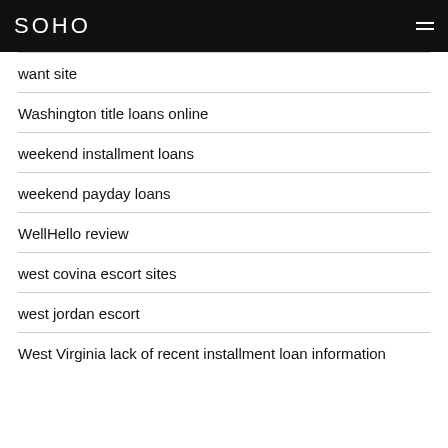SOHO
want site
Washington title loans online
weekend installment loans
weekend payday loans
WellHello review
west covina escort sites
west jordan escort
West Virginia lack of recent installment loan information